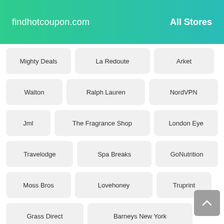findhotcoupon.com   All Stores
Mighty Deals
La Redoute
Arket
Walton
Ralph Lauren
NordVPN
Jml
The Fragrance Shop
London Eye
Travelodge
Spa Breaks
GoNutrition
Moss Bros
Lovehoney
Truprint
Grass Direct
Barneys New York
Nordstrom
Size
Notino